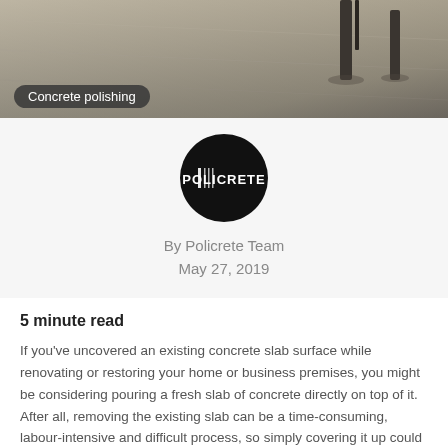[Figure (photo): Overhead/angled view of a polished concrete floor surface with dark metal furniture legs visible]
Concrete polishing
[Figure (logo): Policrete circular black logo with stylized text POLICRETE]
By Policrete Team
May 27, 2019
5 minute read
If you've uncovered an existing concrete slab surface while renovating or restoring your home or business premises, you might be considering pouring a fresh slab of concrete directly on top of it. After all, removing the existing slab can be a time-consuming, labour-intensive and difficult process, so simply covering it up could be a simpler option.
There are a number of factors that need to be considered if you